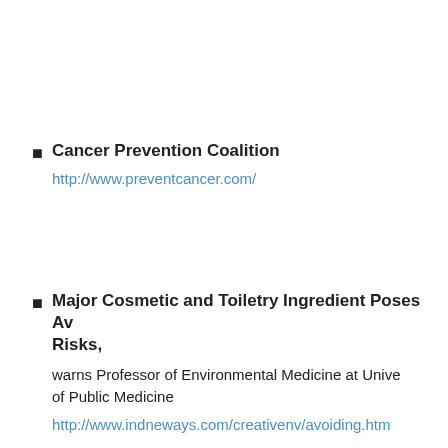Cancer Prevention Coalition
http://www.preventcancer.com/
Major Cosmetic and Toiletry Ingredient Poses Av... Risks,
warns Professor of Environmental Medicine at Unive... of Public Medicine
http://www.indneways.com/creativenv/avoiding.htm